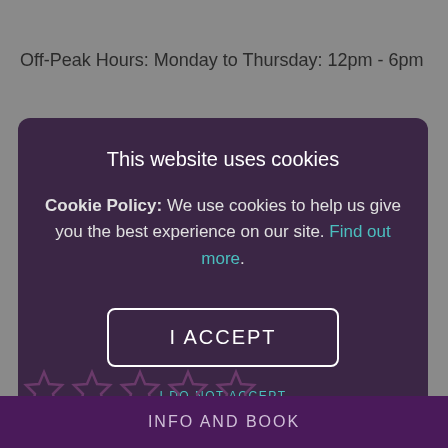Off-Peak Hours: Monday to Thursday: 12pm - 6pm
[Figure (screenshot): Cookie consent modal dialog with dark purple background showing 'This website uses cookies' title, cookie policy text with 'Find out more' link, 'I ACCEPT' button with white border, and 'I DO NOT ACCEPT' link]
[Figure (other): Five empty star rating icons in a row]
INFO AND BOOK